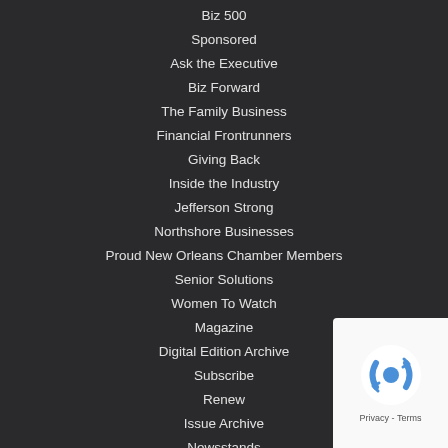Biz 500
Sponsored
Ask the Executive
Biz Forward
The Family Business
Financial Frontrunners
Giving Back
Inside the Industry
Jefferson Strong
Northshore Businesses
Proud New Orleans Chamber Members
Senior Solutions
Women To Watch
Magazine
Digital Edition Archive
Subscribe
Renew
Issue Archive
Newsstands
Newsletters
Custom Publishing
Store
Subscribe
The Magazine
Subscribe